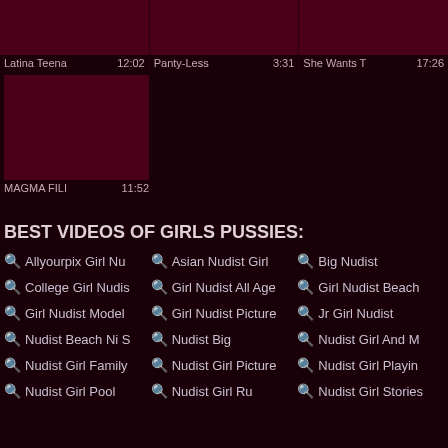[Figure (screenshot): Three video thumbnails in a row with dark maroon background, truncated titles and durations: 'Latina Teena 12:02', 'Panty-Less 3:31', 'She Wants T 17:26']
[Figure (screenshot): Single video thumbnail with dark maroon background, label 'MAGMA FILI 11:52']
BEST VIDEOS OF GIRLS PUSSIES:
Allyourpix Girl Nu
Asian Nudist Girl
Big Nudist
College Girl Nudis
Girl Nudist All Age
Girl Nudist Beach
Girl Nudist Model
Girl Nudist Picture
Jr Girl Nudist
Nudist Beach Ni S
Nudist Big
Nudist Girl And M
Nudist Girl Family
Nudist Girl Picture
Nudist Girl Playin
Nudist Girl Pool
Nudist Girl Ru
Nudist Girl Stories